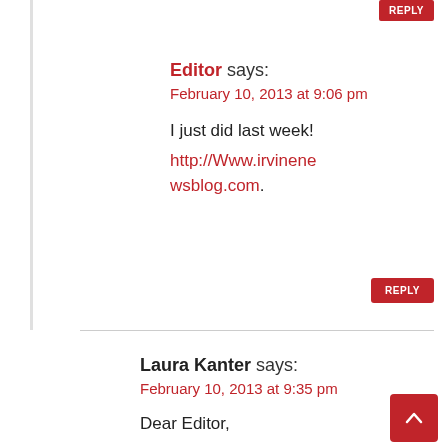REPLY (top button, partially visible)
Editor says:
February 10, 2013 at 9:06 pm
I just did last week! http://Www.irvinenewsblog.com.
REPLY
Laura Kanter says:
February 10, 2013 at 9:35 pm
Dear Editor,